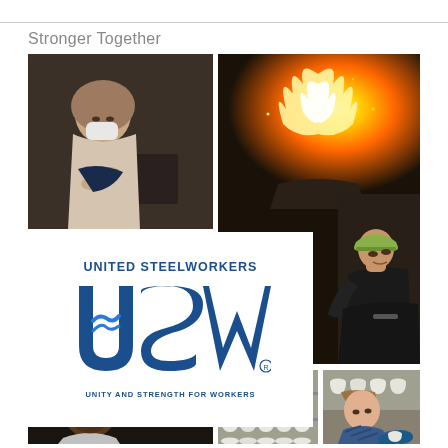Stronger Together
[Figure (photo): Collage of United Steelworkers union workers: top-left a woman in hijab and mask working at a sewing/industrial machine; top-right a worker near intense flames and sparks in a foundry, plus a worker in a hard hat looking up; center-left the United Steelworkers (USW) logo with tagline 'Unity and Strength for Workers'; bottom-left a young Black man smiling at machinery; bottom-center rows of white ceramic cups on shelves; bottom-right a woman in a blue striped shirt and blue gloves working with ceramics.]